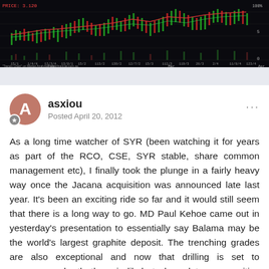[Figure (screenshot): Stock chart / trading chart screenshot showing price and volume data with multiple indicators, dark background, displayed on a financial charting platform (Market Analyzer / mdsfinancial.com.au). Shows historical price data with red and green candlesticks/bars and various technical indicators.]
asxiou
Posted April 20, 2012
As a long time watcher of SYR (been watching it for years as part of the RCO, CSE, SYR stable, share common management etc), I finally took the plunge in a fairly heavy way once the Jacana acquisition was announced late last year. It's been an exciting ride so far and it would still seem that there is a long way to go. MD Paul Kehoe came out in yesterday's presentation to essentially say Balama may be the world's largest graphite deposit. The trenching grades are also exceptional and now that drilling is set to commence shortly there is likely to be a lot more positive news coming out in the near future.
In a macro sense, the graphite market seems to be really heating